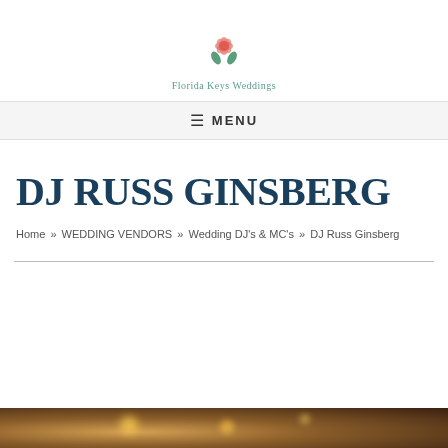[Figure (logo): Florida Keys Weddings logo with pink flower icon and teal text]
≡ MENU
DJ RUSS GINSBERG
Home » WEDDING VENDORS » Wedding DJ's & MC's » DJ Russ Ginsberg
[Figure (photo): Partial image of a warmly lit venue at the bottom of the page]